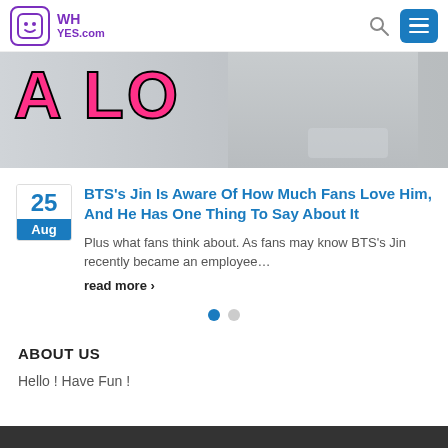WHyes.com
[Figure (photo): Cropped image showing large pink text 'A LO' on the left and a person wearing a white jacket and lanyard on the right, gray background]
BTS's Jin Is Aware Of How Much Fans Love Him, And He Has One Thing To Say About It
Plus what fans think about. As fans may know BTS's Jin recently became an employee...
read more ›
ABOUT US
Hello ! Have Fun !